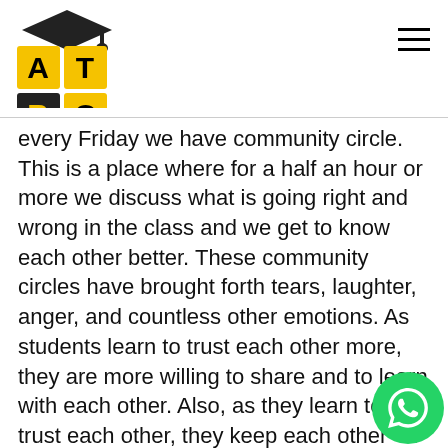ATBC logo with hamburger menu
every Friday we have community circle. This is a place where for a half an hour or more we discuss what is going right and wrong in the class and we get to know each other better. These community circles have brought forth tears, laughter, anger, and countless other emotions. As students learn to trust each other more, they are more willing to share and to learn with each other. Also, as they learn to trust each other, they keep each other “in check,” which effectively eliminates any discipline problem I might have. Creating community in the classroom is not the end in itself. Rather, it is the means to creating a space where the study and practice of democracy and democratic principles can take place. I believe that corporations and the myth of the individual (i.e. “Pull yourself up by your boot straps,” “America, the land of opportunity,” the myth of the po... is curious to the be more or willing erring) be once to be